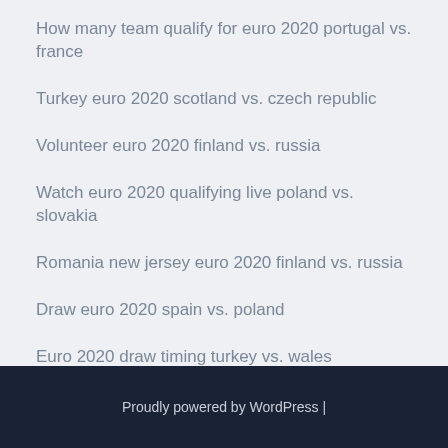How many team qualify for euro 2020 portugal vs. france
Turkey euro 2020 scotland vs. czech republic
Volunteer euro 2020 finland vs. russia
Watch euro 2020 qualifying live poland vs. slovakia
Romania new jersey euro 2020 finland vs. russia
Draw euro 2020 spain vs. poland
Euro 2020 draw timing turkey vs. wales
Proudly powered by WordPress |